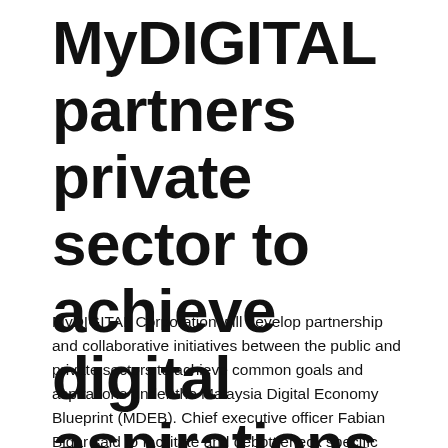MyDIGITAL partners private sector to achieve digital aspirations
MyDIGITAL Corporation will develop partnership and collaborative initiatives between the public and private sectors to achieve common goals and aspirations under the Malaysia Digital Economy Blueprint (MDEB). Chief executive officer Fabian Bigar said to facilitate and debottleneck specific challenges that companies may encounter when adopting digital technology and